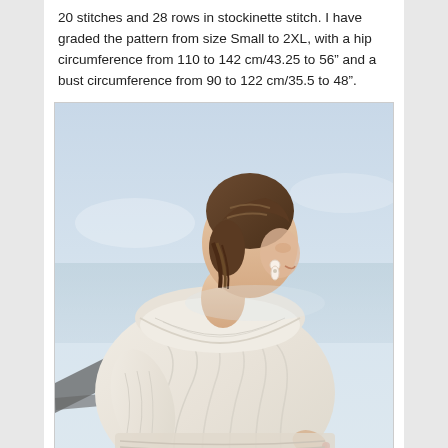20 stitches and 28 rows in stockinette stitch. I have graded the pattern from size Small to 2XL, with a hip circumference from 110 to 142 cm/43.25 to 56" and a bust circumference from 90 to 122 cm/35.5 to 48".
[Figure (photo): A woman with her back mostly to the camera, smiling over her shoulder. She is wearing a cream/off-white chunky cable-knit sweater with a wide folded collar. Her hair is up in a braid. Background is a soft blue-grey sky and water. She also wears pearl drop earrings.]